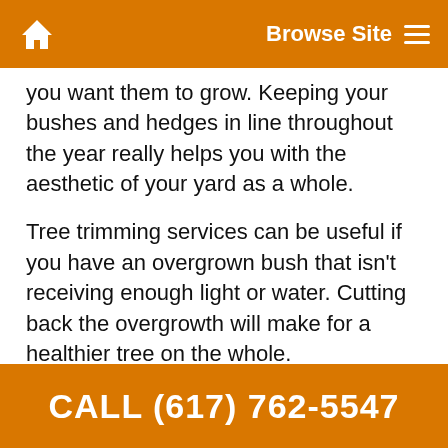Browse Site
you want them to grow. Keeping your bushes and hedges in line throughout the year really helps you with the aesthetic of your yard as a whole.
Tree trimming services can be useful if you have an overgrown bush that isn't receiving enough light or water. Cutting back the overgrowth will make for a healthier tree on the whole.
Why Choose Greater Boston Tree Service for Tree Trimming Near Groveland MA
While there are many tree removal and cutting
CALL (617) 762-5547